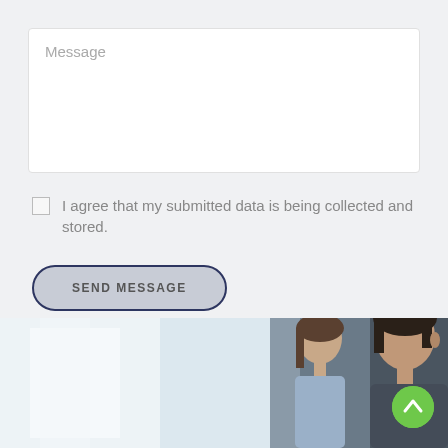Message
I agree that my submitted data is being collected and stored.
SEND MESSAGE
[Figure (photo): Two people (a woman and a man) looking at something together, partially cropped at bottom of page. Background shows bright window light on the left side.]